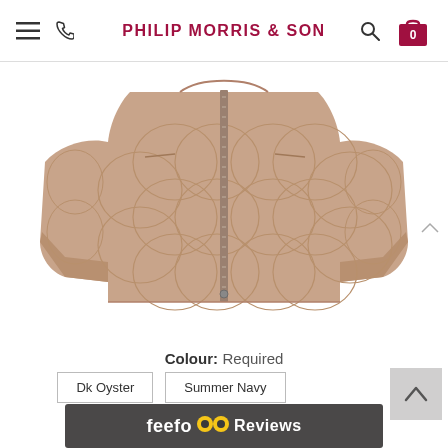PHILIP MORRIS & SON
[Figure (photo): A quilted zip-up jacket in a dusty pink/oyster colour on a white background. The jacket features circular quilting pattern, a central zip, and side pockets.]
Colour: Required
Dk Oyster | Summer Navy
Size: Required
10 | 18
feefo Reviews